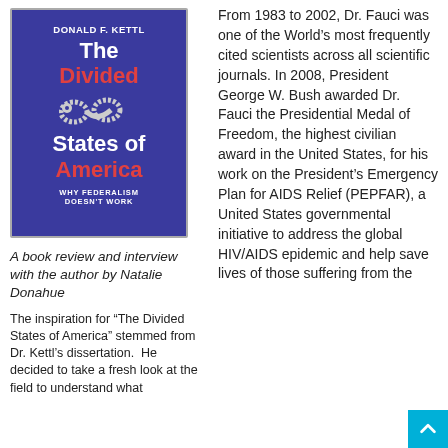[Figure (illustration): Book cover of 'The Divided States of America' by Donald F. Kettl. Dark blue/purple background with red and white text, snake illustration, subtitle 'WHY FEDERALISM DOESN'T WORK'.]
A book review and interview with the author by Natalie Donahue
The inspiration for “The Divided States of America” stemmed from Dr. Kettl’s dissertation.  He decided to take a fresh look at the field to understand what
From 1983 to 2002, Dr. Fauci was one of the World’s most frequently cited scientists across all scientific journals. In 2008, President George W. Bush awarded Dr. Fauci the Presidential Medal of Freedom, the highest civilian award in the United States, for his work on the President’s Emergency Plan for AIDS Relief (PEPFAR), a United States governmental initiative to address the global HIV/AIDS epidemic and help save lives of those suffering from the